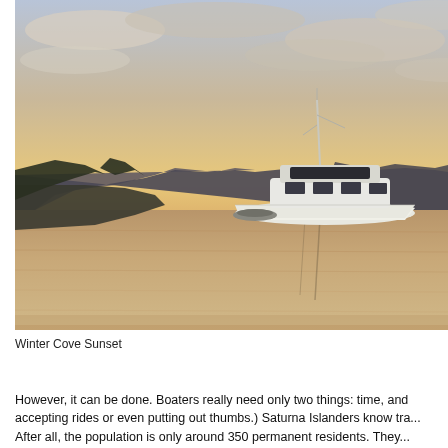[Figure (photo): A white motor yacht anchored in a calm cove at sunset. The sky is golden-pink with scattered clouds. Silhouetted trees and hills frame the background. The water reflects the warm tones of the sunset sky.]
Winter Cove Sunset
However, it can be done. Boaters really need only two things: time, and accepting rides or even putting out thumbs.) Saturna Islanders know tra... After all, the population is only around 350 permanent residents. They...